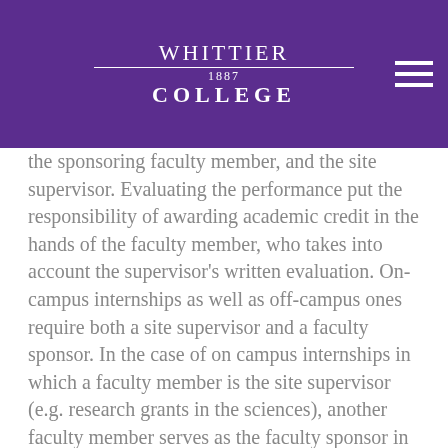WHITTIER 1887 COLLEGE
the sponsoring faculty member, and the site supervisor. Evaluating the performance put the responsibility of awarding academic credit in the hands of the faculty member, who takes into account the supervisor's written evaluation. On-campus internships as well as off-campus ones require both a site supervisor and a faculty sponsor. In the case of on campus internships in which a faculty member is the site supervisor (e.g. research grants in the sciences), another faculty member serves as the faculty sponsor in order for an internship to receive academic credit.
Academic credit is not to be awarded simply because a student has put in a particular number of hours at a place of work. While some routine work may be required of an intern, it is the responsibility of the sponsoring department to make sure that the co-operating body provide